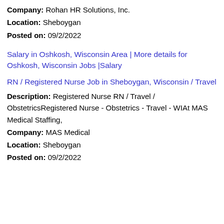Company: Rohan HR Solutions, Inc.
Location: Sheboygan
Posted on: 09/2/2022
Salary in Oshkosh, Wisconsin Area | More details for Oshkosh, Wisconsin Jobs |Salary
RN / Registered Nurse Job in Sheboygan, Wisconsin / Travel
Description: Registered Nurse RN / Travel / ObstetricsRegistered Nurse - Obstetrics - Travel - WIAt MAS Medical Staffing,
Company: MAS Medical
Location: Sheboygan
Posted on: 09/2/2022